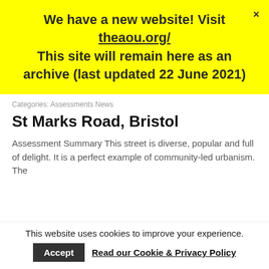We have a new website! Visit theaou.org/ This site will remain here as an archive (last updated 22 June 2021)
Categories: Assessments News
St Marks Road, Bristol
Assessment Summary This street is diverse, popular and full of delight. It is a perfect example of community-led urbanism. The
This website uses cookies to improve your experience.
Accept   Read our Cookie & Privacy Policy